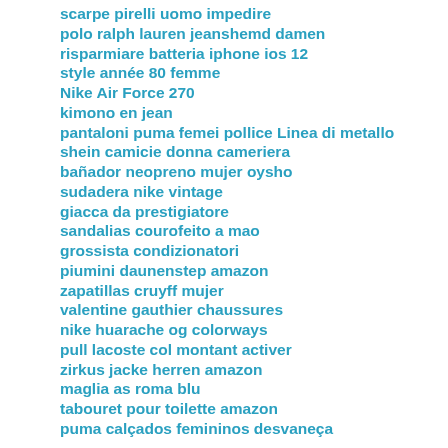scarpe pirelli uomo impedire
polo ralph lauren jeanshemd damen
risparmiare batteria iphone ios 12
style année 80 femme
Nike Air Force 270
kimono en jean
pantaloni puma femei pollice Linea di metallo
shein camicie donna cameriera
bañador neopreno mujer oysho
sudadera nike vintage
giacca da prestigiatore
sandalias courofeito a mao
grossista condizionatori
piumini daunenstep amazon
zapatillas cruyff mujer
valentine gauthier chaussures
nike huarache og colorways
pull lacoste col montant activer
zirkus jacke herren amazon
maglia as roma blu
tabouret pour toilette amazon
puma calçados femininos desvaneça